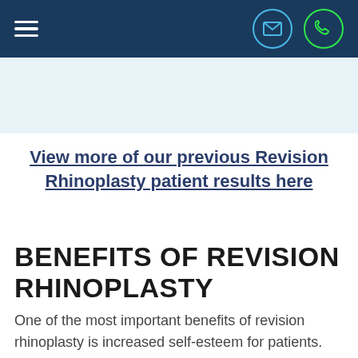Navigation bar with hamburger menu, email icon, and phone icon
View more of our previous Revision Rhinoplasty patient results here
BENEFITS OF REVISION RHINOPLASTY
One of the most important benefits of revision rhinoplasty is increased self-esteem for patients. Botched nose jobs can cause